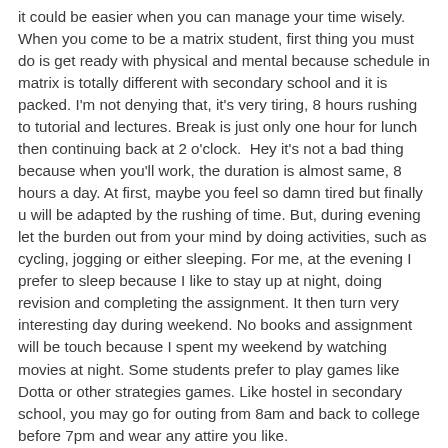it could be easier when you can manage your time wisely. When you come to be a matrix student, first thing you must do is get ready with physical and mental because schedule in matrix is totally different with secondary school and it is packed. I'm not denying that, it's very tiring, 8 hours rushing to tutorial and lectures. Break is just only one hour for lunch then continuing back at 2 o'clock.  Hey it's not a bad thing because when you'll work, the duration is almost same, 8 hours a day. At first, maybe you feel so damn tired but finally u will be adapted by the rushing of time. But, during evening let the burden out from your mind by doing activities, such as cycling, jogging or either sleeping. For me, at the evening I prefer to sleep because I like to stay up at night, doing revision and completing the assignment. It then turn very interesting day during weekend. No books and assignment will be touch because I spent my weekend by watching movies at night. Some students prefer to play games like Dotta or other strategies games. Like hostel in secondary school, you may go for outing from 8am and back to college before 7pm and wear any attire you like.
Being a matriculation student, you have to be quick every